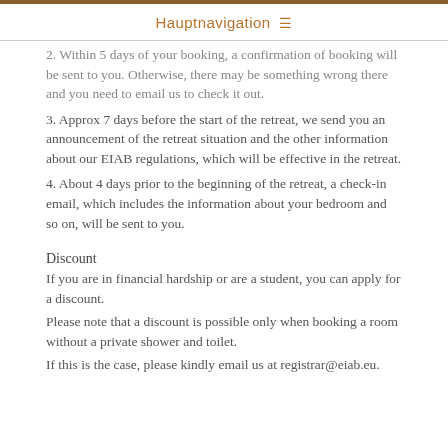Hauptnavigation ≡
2. Within 5 days of your booking, a confirmation of booking will be sent to you. Otherwise, there may be something wrong there and you need to email us to check it out.
3. Approx 7 days before the start of the retreat, we send you an announcement of the retreat situation and the other information about our EIAB regulations, which will be effective in the retreat.
4. About 4 days prior to the beginning of the retreat, a check-in email, which includes the information about your bedroom and so on, will be sent to you.
Discount
If you are in financial hardship or are a student, you can apply for a discount.
Please note that a discount is possible only when booking a room without a private shower and toilet.
If this is the case, please kindly email us at registrar@eiab.eu.